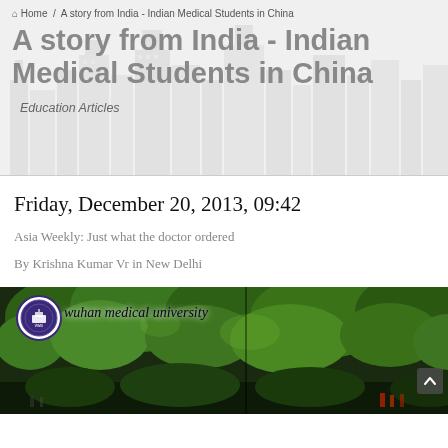Home / A story from India - Indian Medical Students in China
A story from India - Indian Medical Students in China
Education Articles
Friday, December 20, 2013, 09:42
Asia Weekly: Just what the doctor ordered
By Krishna Kumar Vr in New Delhi
[Figure (photo): Photo of Wuhan Medical University campus with trees and greenery, showing university badge/seal and text 'wuhan medical university']